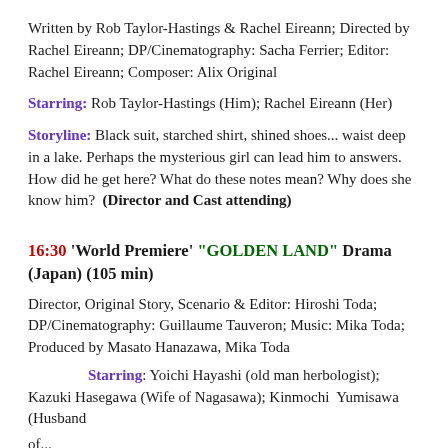Written by Rob Taylor-Hastings & Rachel Eireann; Directed by Rachel Eireann; DP/Cinematography: Sacha Ferrier; Editor: Rachel Eireann; Composer: Alix Original
Starring: Rob Taylor-Hastings (Him); Rachel Eireann (Her)
Storyline: Black suit, starched shirt, shined shoes... waist deep in a lake. Perhaps the mysterious girl can lead him to answers. How did he get here? What do these notes mean? Why does she know him? (Director and Cast attending)
16:30 'World Premiere' "GOLDEN LAND" Drama (Japan) (105 min)
Director, Original Story, Scenario & Editor: Hiroshi Toda; DP/Cinematography: Guillaume Tauveron; Music: Mika Toda; Produced by Masato Hanazawa, Mika Toda
Starring: Yoichi Hayashi (old man herbologist); Kazuki Hasegawa (Wife of Nagasawa); Kinmochi Yumisawa (Husband of...